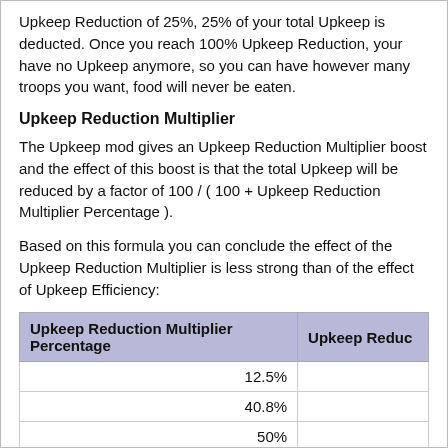Upkeep Reduction of 25%, 25% of your total Upkeep is deducted. Once you reach 100% Upkeep Reduction, your have no Upkeep anymore, so you can have however many troops you want, food will never be eaten.
Upkeep Reduction Multiplier
The Upkeep mod gives an Upkeep Reduction Multiplier boost and the effect of this boost is that the total Upkeep will be reduced by a factor of 100 / ( 100 + Upkeep Reduction Multiplier Percentage ).
Based on this formula you can conclude the effect of the Upkeep Reduction Multiplier is less strong than of the effect of Upkeep Efficiency:
| Upkeep Reduction Multiplier Percentage | Upkeep Reduc… |
| --- | --- |
| 12.5% |  |
| 40.8% |  |
| 50% |  |
| 100% |  |